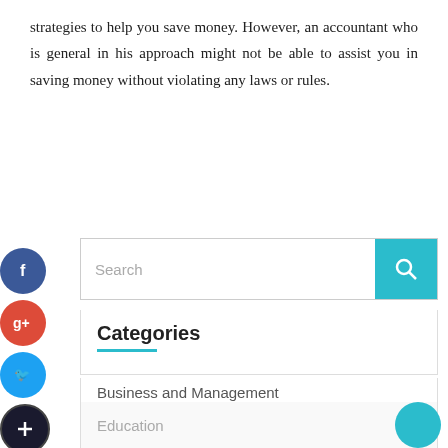strategies to help you save money. However, an accountant who is general in his approach might not be able to assist you in saving money without violating any laws or rules.
[Figure (screenshot): Search bar with teal search button icon]
[Figure (infographic): Social media sidebar icons: Facebook (blue circle), Google+ (red circle), Twitter (blue circle), Plus (dark circle)]
Categories
Business and Management
Education